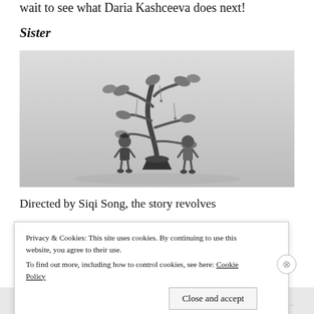wait to see what Daria Kashceeva does next!
Sister
[Figure (photo): Black and white photograph of two small figurines (a girl and a boy) standing on either side of a decorative tree in a pot. The tree has twisted branches with leaves. The figurines appear to be handmade craft figures.]
Directed by Siqi Song, the story revolves
Privacy & Cookies: This site uses cookies. By continuing to use this website, you agree to their use.
To find out more, including how to control cookies, see here: Cookie Policy
Close and accept